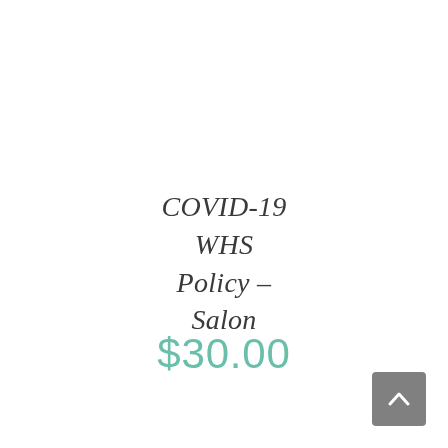COVID-19 WHS Policy – Salon
$30.00